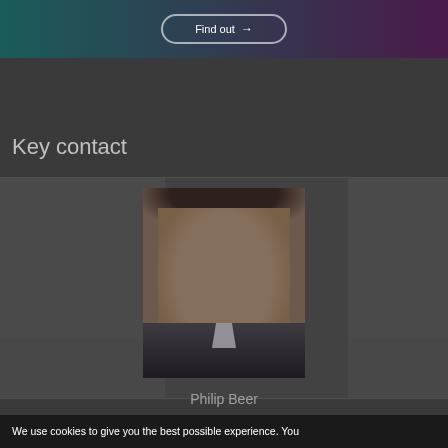[Figure (screenshot): Top banner with gradient teal-to-purple background and a pill/rounded button with arrow]
Key contact
[Figure (photo): Headshot photo of Philip Beer, a young man in a dark suit smiling, with a dark overlay tint]
Philip Beer
We use cookies to give you the best possible experience. You